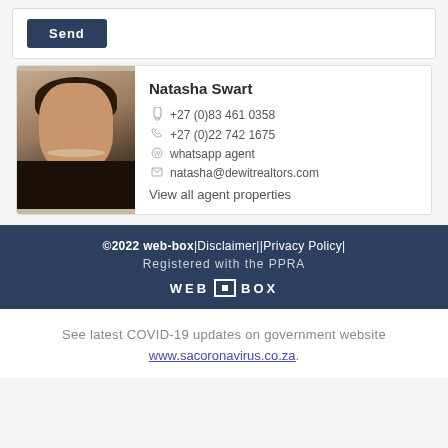Send
Natasha Swart
+27 (0)83 461 0358
+27 (0)22 742 1675
whatsapp agent
natasha@dewitrealtors.com
View all agent properties
©2022 web-box|Disclaimer||Privacy Policy|
Registered with the PPRA
WEB [■] BOX
See latest COVID-19 updates on government website
www.sacoronavirus.co.za.